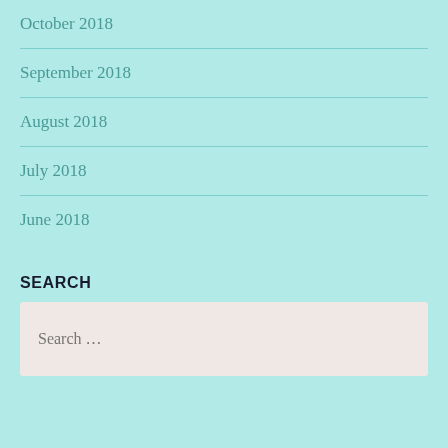October 2018
September 2018
August 2018
July 2018
June 2018
SEARCH
Search …